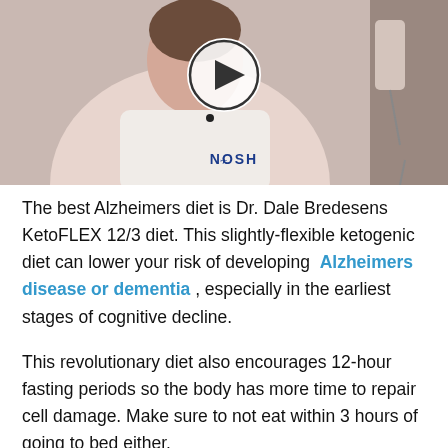[Figure (photo): Video thumbnail showing a woman in a white top speaking, with a play button overlay and 'NOSH' logo at the bottom center. On the right side, hands holding utensils are visible.]
The best Alzheimers diet is Dr. Dale Bredesens KetoFLEX 12/3 diet. This slightly-flexible ketogenic diet can lower your risk of developing Alzheimers disease or dementia , especially in the earliest stages of cognitive decline.
This revolutionary diet also encourages 12-hour fasting periods so the body has more time to repair cell damage. Make sure to not eat within 3 hours of going to bed either.
By eating foods such as green leafy vegetables, fish, nuts, and even an occasional glass of red wine, you can reduce